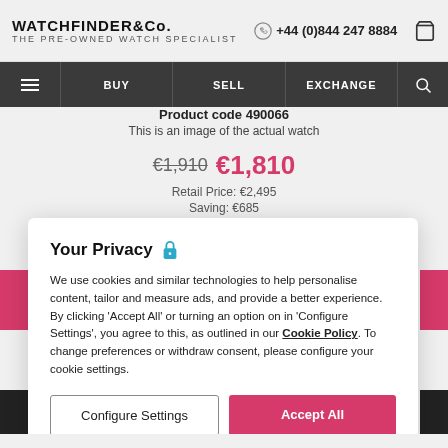WATCHFINDER & Co. THE PRE-OWNED WATCH SPECIALIST | +44 (0)844 247 8884
BUY  SELL  EXCHANGE
Product code 490066
This is an image of the actual watch
€1,910  €1,810
Retail Price: €2,495
Saving: €685
Your Privacy
We use cookies and similar technologies to help personalise content, tailor and measure ads, and provide a better experience. By clicking 'Accept All' or turning an option on in 'Configure Settings', you agree to this, as outlined in our Cookie Policy. To change preferences or withdraw consent, please configure your cookie settings.
Configure Settings
Accept All